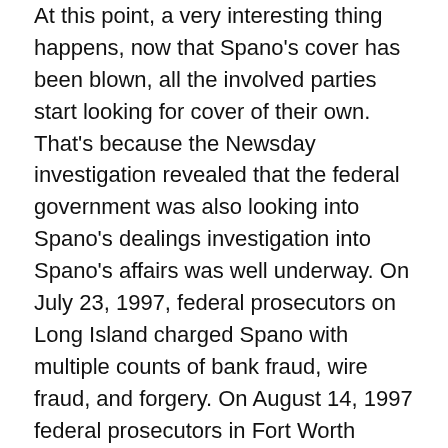At this point, a very interesting thing happens, now that Spano's cover has been blown, all the involved parties start looking for cover of their own. That's because the Newsday investigation revealed that the federal government was also looking into Spano's dealings investigation into Spano's affairs was well underway. On July 23, 1997, federal prosecutors on Long Island charged Spano with multiple counts of bank fraud, wire fraud, and forgery. On August 14, 1997 federal prosecutors in Fort Worth indicted Spano with additional unrelated charges of bank fraud and wire fraud for bilking two lenders out of $5.1 million. The dominoes continued to fall as soon afterward, federal prosecutors in Boston (home to Fleet Bank) began investigating Spano regarding the $80 million loan.
All these criminal charges brought out all the ugly details.